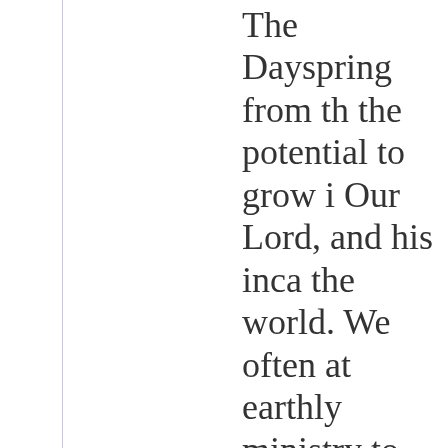The Dayspring from th the potential to grow i Our Lord, and his inca the world. We often at earthly ministry to His this coming Saturday. appearing on earth, in beginning of an assaul the Christ child is at o who wish for salvation forces of evil. When w picture soldiers headin swords, bows and arro But how can this possi Christmas?

Think about the names